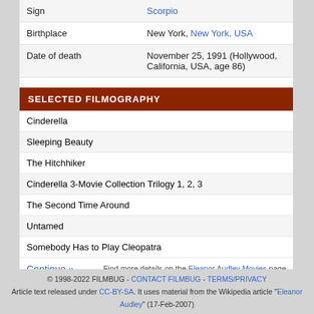|  |  |
| --- | --- |
| Sign | Scorpio |
| Birthplace | New York, New York, USA |
| Date of death | November 25, 1991 (Hollywood, California, USA, age 86) |
SELECTED FILMOGRAPHY
Cinderella
Sleeping Beauty
The Hitchhiker
Cinderella 3-Movie Collection Trilogy 1, 2, 3
The Second Time Around
Untamed
Somebody Has to Play Cleopatra
Continue » Find more details on the Eleanor Audley Movies page
© 1998-2022 FILMBUG - CONTACT FILMBUG - TERMS/PRIVACY Article text released under CC-BY-SA. It uses material from the Wikipedia article "Eleanor Audley" (17-Feb-2007)